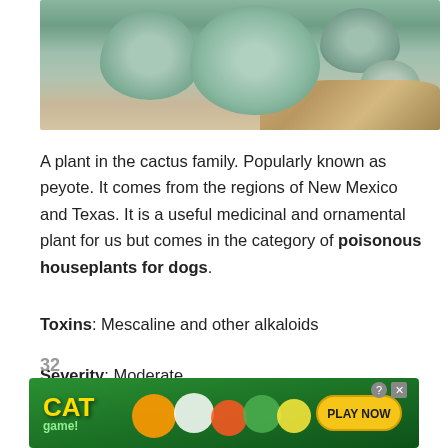[Figure (photo): Close-up photograph of peyote cactus plants (Lophophora williamsii), showing round blue-green spineless cacti among rocks and pebbles]
A plant in the cactus family. Popularly known as peyote. It comes from the regions of New Mexico and Texas. It is a useful medicinal and ornamental plant for us but comes in the category of poisonous houseplants for dogs.
Toxins: Mescaline and other alkaloids
Severity: Moderate
Malicious Parts of the Plant: The whole plant
Symptoms: Psychotropic, intoxication, vomiting, diarrhea
[Figure (illustration): Cat Game advertisement banner with cartoon cats and Play Now button]